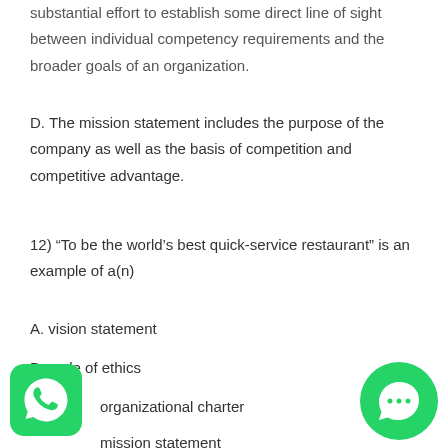substantial effort to establish some direct line of sight between individual competency requirements and the broader goals of an organization.
D. The mission statement includes the purpose of the company as well as the basis of competition and competitive advantage.
12) “To be the world’s best quick-service restaurant” is an example of a(n)
A. vision statement
B. code of ethics
C. organizational charter
D. mission statement